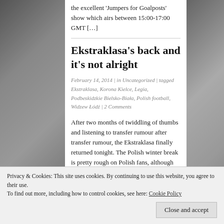the excellent 'Jumpers for Goalposts' show which airs between 15:00-17:00 GMT […]
Ekstraklasa's back and it's not alright
February 14, 2014 | in Uncategorized | tagged Ekstraklasa, Korona Kielce, Legia, Podbeskidzkie Bielsko-Biała, Polish football, Widzew Łódź | 2 Comments
After two months of twiddling of thumbs and listening to transfer rumour after transfer rumour, the Ekstraklasa finally returned tonight. The Polish winter break is pretty rough on Polish fans, although the fact that many supporters here are enthusiasts of
Privacy & Cookies: This site uses cookies. By continuing to use this website, you agree to their use.
To find out more, including how to control cookies, see here: Cookie Policy
Close and accept